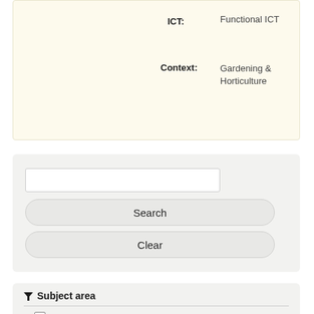ICT: Functional ICT
Context: Gardening & Horticulture
[Figure (screenshot): Search input box with Search and Clear buttons on a light grey background]
Subject area
Functional ICT (3)